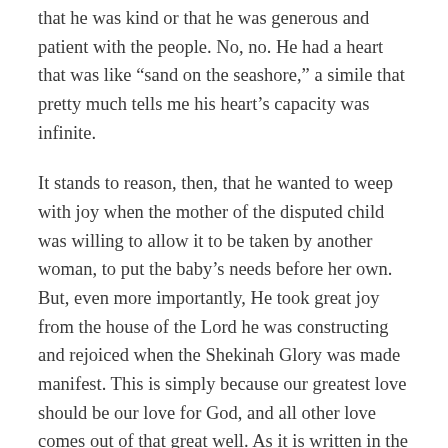that he was kind or that he was generous and patient with the people. No, no. He had a heart that was like “sand on the seashore,” a simile that pretty much tells me his heart’s capacity was infinite.
It stands to reason, then, that he wanted to weep with joy when the mother of the disputed child was willing to allow it to be taken by another woman, to put the baby’s needs before her own. But, even more importantly, He took great joy from the house of the Lord he was constructing and rejoiced when the Shekinah Glory was made manifest. This is simply because our greatest love should be our love for God, and all other love comes out of that great well. As it is written in the Gospel of John (4:15–21):
Whoever confesses that Jesus is the Son of God